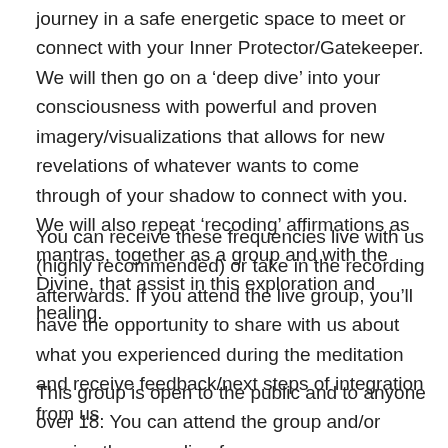journey in a safe energetic space to meet or connect with your Inner Protector/Gatekeeper. We will then go on a 'deep dive' into your consciousness with powerful and proven imagery/visualizations that allows for new revelations of whatever wants to come through of your shadow to connect with you. We will also repeat 'recoding' affirmations as mantras, together as a group and with the Divine, that assist in this exploration and healing.
You can receive these frequencies live with us (highly recommended) or take in the recording afterwards. If you attend the live group, you'll have the opportunity to share with us about what you experienced during the meditation and receive feedback/next steps of integration from us.
This group is open to the public and to anyone over 18. You can attend the group and/or receive the recording for an